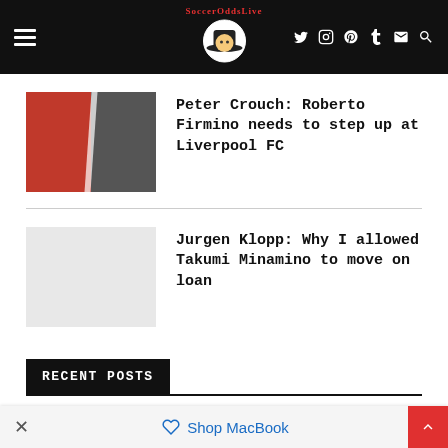SoccerOddsLive navigation bar with logo, hamburger menu, and social icons
Peter Crouch: Roberto Firmino needs to step up at Liverpool FC
Jurgen Klopp: Why I allowed Takumi Minamino to move on loan
RECENT POSTS
The 10 best IPTV service providers in 2022
× Shop MacBook [back to top]